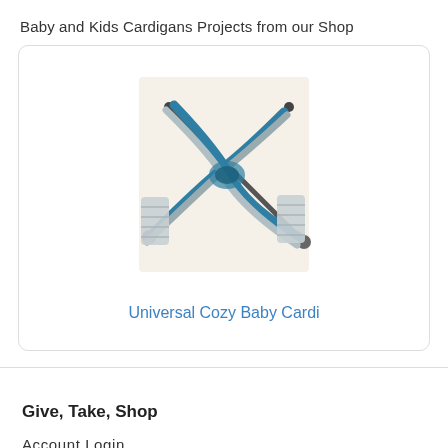Baby and Kids Cardigans Projects from our Shop
[Figure (illustration): Illustration of a baby cardigan knitting pattern - grey and teal/blue yarn crossed knitting needles forming a cardigan shape]
Universal Cozy Baby Cardi
Give, Take, Shop
Account Login